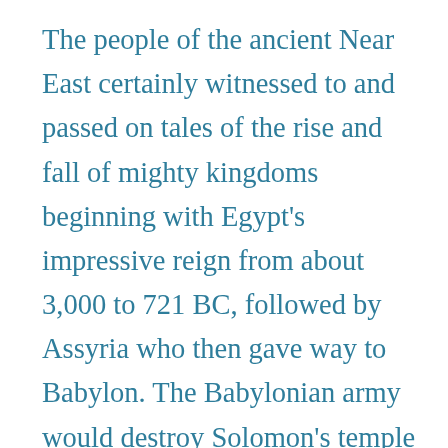The people of the ancient Near East certainly witnessed to and passed on tales of the rise and fall of mighty kingdoms beginning with Egypt's impressive reign from about 3,000 to 721 BC, followed by Assyria who then gave way to Babylon. The Babylonian army would destroy Solomon's temple as predicted by the prophet Jeremiah. The Persians would then overtake the Babylonians and push west only to be repelled by the unification of the Greek city states under the Macedonian Philip and then